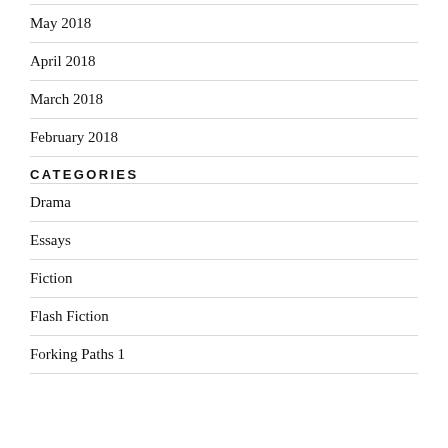May 2018
April 2018
March 2018
February 2018
CATEGORIES
Drama
Essays
Fiction
Flash Fiction
Forking Paths 1